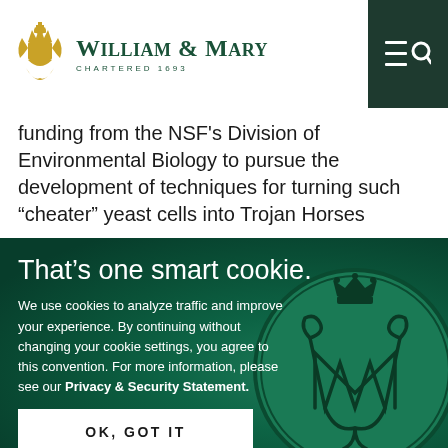William & Mary — Chartered 1693
funding from the NSF's Division of Environmental Biology to pursue the development of techniques for turning such “cheater” yeast cells into Trojan Horses
That’s one smart cookie.
We use cookies to analyze traffic and improve your experience. By continuing without changing your cookie settings, you agree to this convention. For more information, please see our Privacy & Security Statement.
[Figure (other): William & Mary wax seal embossed with royal cypher W and M under a crown, green tinted background]